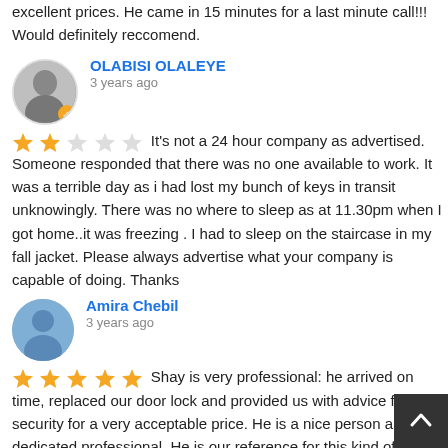excellent prices. He came in 15 minutes for a last minute call!!! Would definitely reccomend.
OLABISI OLALEYE
3 years ago
★★☆☆☆ It's not a 24 hour company as advertised. Someone responded that there was no one available to work. It was a terrible day as i had lost my bunch of keys in transit unknowingly. There was no where to sleep as at 11.30pm when I got home..it was freezing . I had to sleep on the staircase in my fall jacket. Please always advertise what your company is capable of doing. Thanks
Amira Chebil
3 years ago
★★★★★ Shay is very professional: he arrived on time, replaced our door lock and provided us with advice for extra security for a very acceptable price. He is a nice person and a dedicated professional. He is our reference for this kind of issues!. Thank you so much Shay for your work.